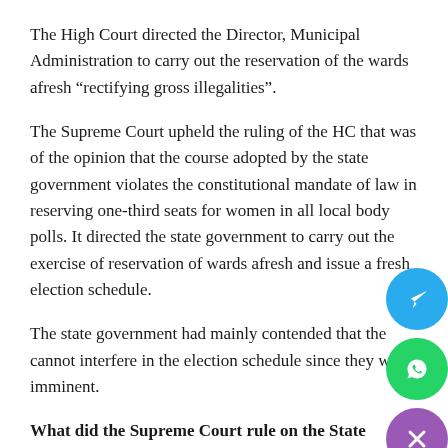The High Court directed the Director, Municipal Administration to carry out the reservation of the wards afresh “rectifying gross illegalities”.
The Supreme Court upheld the ruling of the HC that was of the opinion that the course adopted by the state government violates the constitutional mandate of law in reserving one-third seats for women in all local body polls. It directed the state government to carry out the exercise of reservation of wards afresh and issue a fresh election schedule.
The state government had mainly contended that the courts cannot interfere in the election schedule since they were imminent.
What did the Supreme Court rule on the State Election Commission?